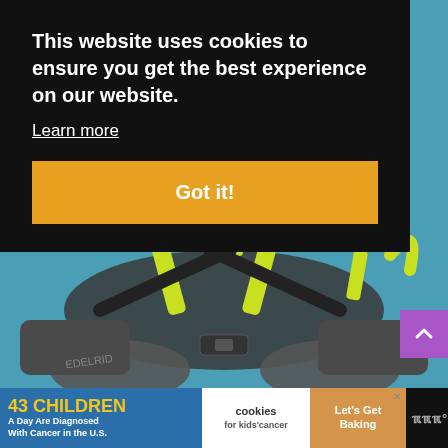[Figure (photo): Product photo of an Edelrid climbing harness (grey and yellow-green) on a blue background]
This website uses cookies to ensure you get the best experience on our website.
Learn more
Got it!
[Figure (infographic): Advertisement banner: '43 CHILDREN A Day Are Diagnosed With Cancer in the U.S.' with cookies for kids cancer logo and 'Let's Get Baking' call to action]
43 CHILDREN A Day Are Diagnosed With Cancer in the U.S.
cookies for kids' cancer
Let's Get Baking